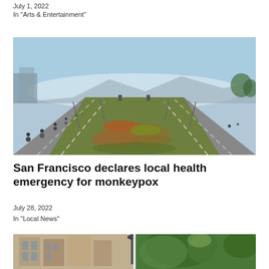July 1, 2022
In "Arts & Entertainment"
[Figure (photo): Aerial perspective view of a wide boulevard with a planted median covered in colorful succulents and ice plants. Cyclists ride on the left side of the road. The road stretches into a foggy horizon with mountains in the distance and street lights overhead. Sky is clear blue above.]
San Francisco declares local health emergency for monkeypox
July 28, 2022
In "Local News"
[Figure (photo): Partially visible photo showing what appears to be historic San Francisco Victorian buildings on the left and trees on the right, split by a gap in the middle.]